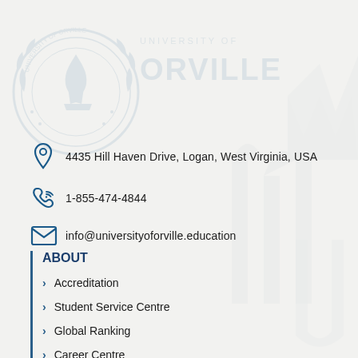[Figure (logo): University of Orville watermark logo with circular seal on left and stylized crown/torch emblem on right, light blue/grey toned]
4435 Hill Haven Drive, Logan, West Virginia, USA
1-855-474-4844
info@universityoforville.education
ABOUT
Accreditation
Student Service Centre
Global Ranking
Career Centre